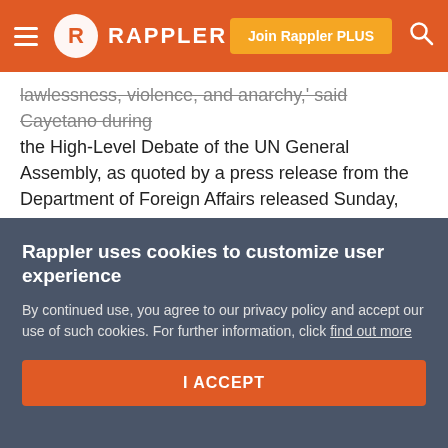Rappler — Join Rappler PLUS
lawlessness, violence, and anarchy,' said Cayetano during the High-Level Debate of the UN General Assembly, as quoted by a press release from the Department of Foreign Affairs released Sunday, September 24.
He said that "security and human rights are not incompatible." "Without security, the most basic human rights, to life and safety, are constantly under attack – from terrorism, criminality, drug and human trafficking," he said in his speech on Saturday, September 23.
Rappler uses cookies to customize user experience
By continued use, you agree to our privacy policy and accept our use of such cookies. For further information, click find out more
I ACCEPT